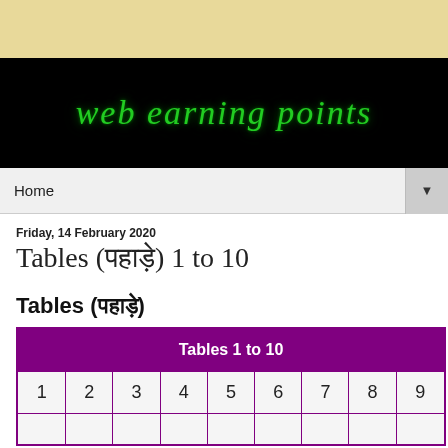[Figure (logo): Web earning points logo banner with green glowing text on black background]
Home ▼
Friday, 14 February 2020
Tables (पहाड़े) 1 to 10
Tables (पहाड़े)
| Tables 1 to 10 |
| --- |
| 1 | 2 | 3 | 4 | 5 | 6 | 7 | 8 | 9 |
|  |  |  |  |  |  |  |  |  |